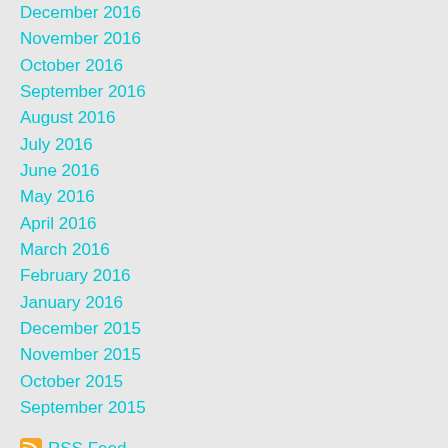December 2016
November 2016
October 2016
September 2016
August 2016
July 2016
June 2016
May 2016
April 2016
March 2016
February 2016
January 2016
December 2015
November 2015
October 2015
September 2015
RSS Feed
Subscribe to our mailing list